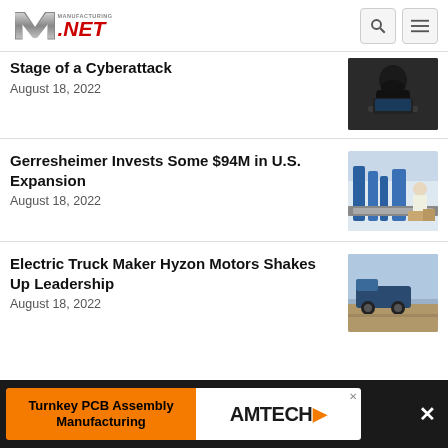Manufacturing.NET
Stage of a Cyberattack
August 18, 2022
[Figure (photo): Person in dark hoodie working on a laptop — cyberattack concept image]
Gerresheimer Invests Some $94M in U.S. Expansion
August 18, 2022
[Figure (photo): Worker at a manufacturing facility with blue robotic machinery]
Electric Truck Maker Hyzon Motors Shakes Up Leadership
August 18, 2022
[Figure (photo): Electric truck driving on a road]
Turnkey PCB Assembly Manufacturing  AMTECH